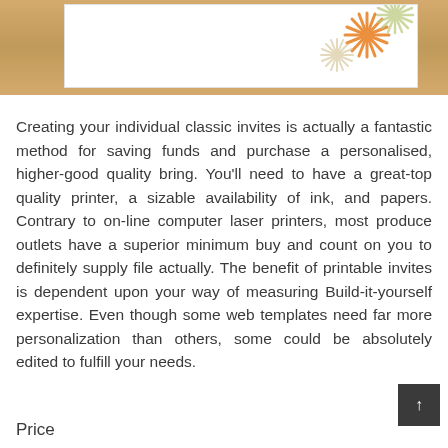[Figure (photo): A decorative stationery card with floral pattern (orange and green chrysanthemum-like flowers) on the right side, set against a wood-grain textured background frame.]
Creating your individual classic invites is actually a fantastic method for saving funds and purchase a personalised, higher-good quality bring. You'll need to have a great-top quality printer, a sizable availability of ink, and papers. Contrary to on-line computer laser printers, most produce outlets have a superior minimum buy and count on you to definitely supply file actually. The benefit of printable invites is dependent upon your way of measuring Build-it-yourself expertise. Even though some web templates need far more personalization than others, some could be absolutely edited to fulfill your needs.
Price